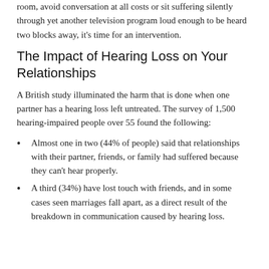room, avoid conversation at all costs or sit suffering silently through yet another television program loud enough to be heard two blocks away, it's time for an intervention.
The Impact of Hearing Loss on Your Relationships
A British study illuminated the harm that is done when one partner has a hearing loss left untreated. The survey of 1,500 hearing-impaired people over 55 found the following:
Almost one in two (44% of people) said that relationships with their partner, friends, or family had suffered because they can't hear properly.
A third (34%) have lost touch with friends, and in some cases seen marriages fall apart, as a direct result of the breakdown in communication caused by hearing loss.